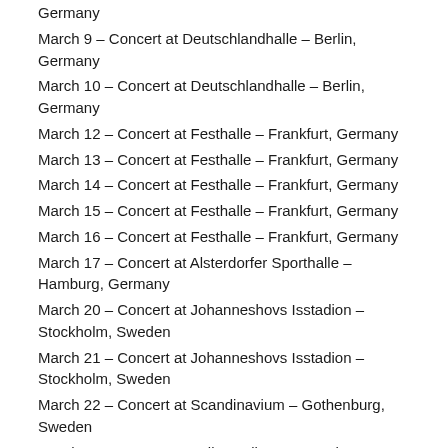Germany
March 9 – Concert at Deutschlandhalle – Berlin, Germany
March 10 – Concert at Deutschlandhalle – Berlin, Germany
March 12 – Concert at Festhalle – Frankfurt, Germany
March 13 – Concert at Festhalle – Frankfurt, Germany
March 14 – Concert at Festhalle – Frankfurt, Germany
March 15 – Concert at Festhalle – Frankfurt, Germany
March 16 – Concert at Festhalle – Frankfurt, Germany
March 17 – Concert at Alsterdorfer Sporthalle – Hamburg, Germany
March 20 – Concert at Johanneshovs Isstadion – Stockholm, Sweden
March 21 – Concert at Johanneshovs Isstadion – Stockholm, Sweden
March 22 – Concert at Scandinavium – Gothenburg, Sweden
March 27 – Concert at Valby-Hallen – Copenhagen,